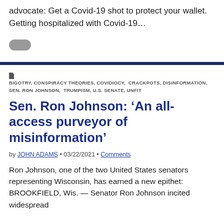advocate: Get a Covid-19 shot to protect your wallet. Getting hospitalized with Covid-19...
[Figure (other): Small gray pill-shaped toggle button]
BIGOTRY, CONSPIRACY THEORIES, COVIDIOCY, CRACKPOTS, DISINFORMATION, SEN. RON JOHNSON, TRUMPISM, U.S. SENATE, UNFIT
Sen. Ron Johnson: 'An all-access purveyor of misinformation'
by JOHN ADAMS • 03/22/2021 • Comments
Ron Johnson, one of the two United States senators representing Wisconsin, has earned a new epithet: BROOKFIELD, Wis. — Senator Ron Johnson incited widespread...